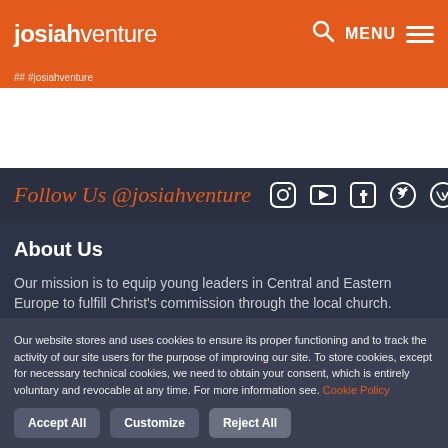josiahventure — MENU
Follow Us @josiahventure
About Us
Our mission is to equip young leaders in Central and Eastern Europe to fulfill Christ's commission through the local church.
Our website stores and uses cookies to ensure its proper functioning and to track the activity of our site users for the purpose of improving our site. To store cookies, except for necessary technical cookies, we need to obtain your consent, which is entirely voluntary and revocable at any time. For more information see. Cookie Policy
Accept All | Customize | Reject All